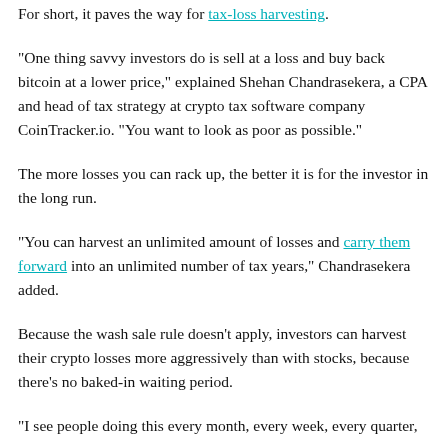For short, it paves the way for tax-loss harvesting.
"One thing savvy investors do is sell at a loss and buy back bitcoin at a lower price," explained Shehan Chandrasekera, a CPA and head of tax strategy at crypto tax software company CoinTracker.io. "You want to look as poor as possible."
The more losses you can rack up, the better it is for the investor in the long run.
"You can harvest an unlimited amount of losses and carry them forward into an unlimited number of tax years," Chandrasekera added.
Because the wash sale rule doesn’t apply, investors can harvest their crypto losses more aggressively than with stocks, because there’s no baked-in waiting period.
"I see people doing this every month, every week, every quarter,